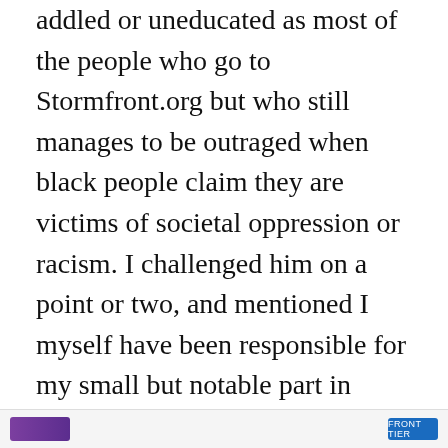addled or uneducated as most of the people who go to Stormfront.org but who still manages to be outraged when black people claim they are victims of societal oppression or racism. I challenged him on a point or two, and mentioned I myself have been responsible for my small but notable part in racism in the past, and suggested that he might want to open his eyes a bit.
He asked me for examples of my “oppression” against blacks. I declined, not out of embarrassment or lack of examples, but because at that point, it was clear he was simply a troll looking for more fresh meat to rant about
Privacy & Cookies: This site uses cookies. By continuing to use this website, you agree to their use.
To find out more, including how to control cookies, see here: Cookie Policy